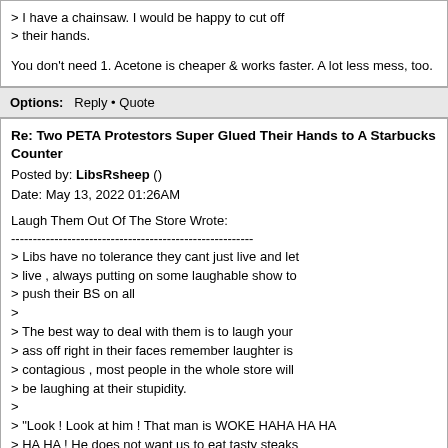> I have a chainsaw. I would be happy to cut off
> their hands.

You don't need 1. Acetone is cheaper & works faster. A lot less mess, too.
Options:   Reply • Quote
Re: Two PETA Protestors Super Glued Their Hands to A Starbucks Counter
Posted by: LibsRsheep ()
Date: May 13, 2022 01:26AM
Laugh Them Out Of The Store Wrote:
--------------------------------------------------------
> Libs have no tolerance they cant just live and let
> live , always putting on some laughable show to
> push their BS on all
>
> The best way to deal with them is to laugh your
> ass off right in their faces remember laughter is
> contagious , most people in the whole store will
> be laughing at their stupidity.
>
> "Look ! Look at him ! That man is WOKE HAHA HA HA
> HA HA ! He does not want us to eat tasty steaks
> skrimps or fried chicken " "God hes stupid animals
> taste so good"
>
> Laugh the woke fools right out the door !